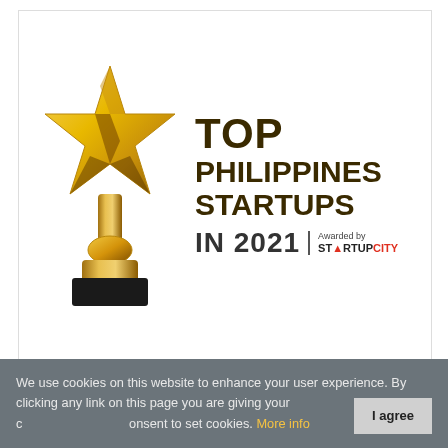[Figure (logo): Award badge: Gold star trophy on left, text 'TOP PHILIPPINES STARTUPS IN 2021 Awarded by STARTUPCITY' on right. White background with light border.]
We use cookies on this website to enhance your user experience. By clicking any link on this page you are giving your consent to set cookies. More info